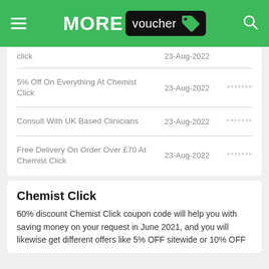MORE voucher
click | 23-Aug-2022
5% Off On Everything At Chemist Click | 23-Aug-2022 | *******
Consult With UK Based Clinicians | 23-Aug-2022 | *******
Free Delivery On Order Over £70 At Chemist Click | 23-Aug-2022 | *******
Chemist Click
60% discount Chemist Click coupon code will help you with saving money on your request in June 2021, and you will likewise get different offers like 5% OFF sitewide or 10% OFF